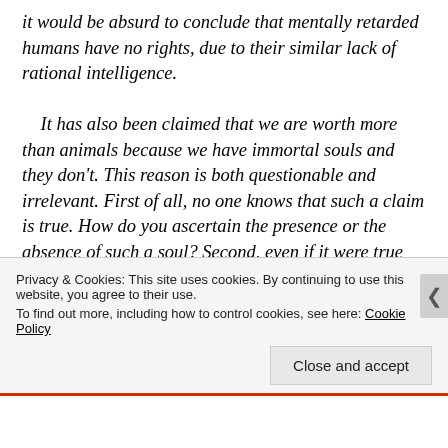it would be absurd to conclude that mentally retarded humans have no rights, due to their similar lack of rational intelligence.

It has also been claimed that we are worth more than animals because we have immortal souls and they don't. This reason is both questionable and irrelevant. First of all, no one knows that such a claim is true. How do you ascertain the presence or the absence of such a soul? Second, even if it were true that we have immortal souls and that other animals don't, how could this make our
Privacy & Cookies: This site uses cookies. By continuing to use this website, you agree to their use.
To find out more, including how to control cookies, see here: Cookie Policy
Close and accept